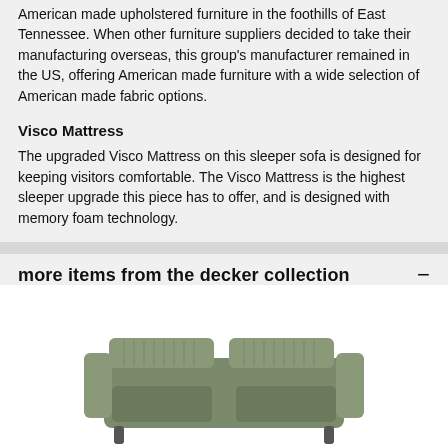American made upholstered furniture in the foothills of East Tennessee. When other furniture suppliers decided to take their manufacturing overseas, this group's manufacturer remained in the US, offering American made furniture with a wide selection of American made fabric options.
Visco Mattress
The upgraded Visco Mattress on this sleeper sofa is designed for keeping visitors comfortable. The Visco Mattress is the highest sleeper upgrade this piece has to offer, and is designed with memory foam technology.
more items from the decker collection
[Figure (photo): A sofa/couch from the Decker collection, shown in a striped grey/green upholstery fabric, partially visible at the bottom of the page on a white background.]